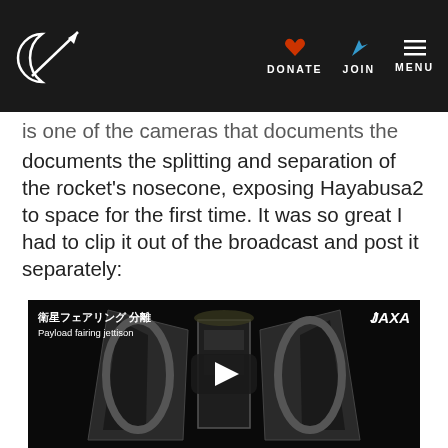Planetary Society — DONATE | JOIN | MENU
…is one of the cameras that documents the filming documents the splitting and separation of the rocket's nosecone, exposing Hayabusa2 to space for the first time. It was so great I had to clip it out of the broadcast and post it separately:
[Figure (screenshot): YouTube-style video thumbnail showing JAXA payload fairing jettison footage with Japanese text '衛星フェアリング 分離' and English subtitle 'Payload fairing jettison'. The image shows a rocket nosecone splitting open in space. A play button is overlaid in the center.]